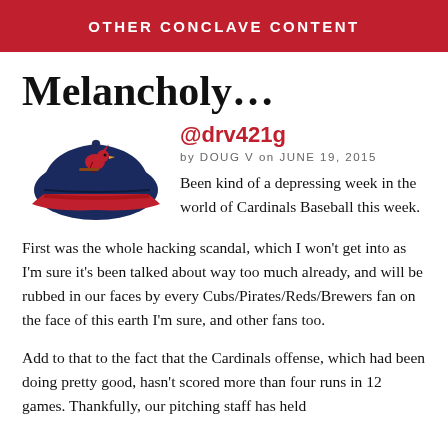OTHER CONCLAVE CONTENT
Melancholy…
@drv421g
by DOUG V on JUNE 19, 2015
[Figure (photo): Navy blue baseball cap with red brim and Cardinals logo]
Been kind of a depressing week in the world of Cardinals Baseball this week. First was the whole hacking scandal, which I won't get into as I'm sure it's been talked about way too much already, and will be rubbed in our faces by every Cubs/Pirates/Reds/Brewers fan on the face of this earth I'm sure, and other fans too.
Add to that to the fact that the Cardinals offense, which had been doing pretty good, hasn't scored more than four runs in 12 games. Thankfully, our pitching staff has held